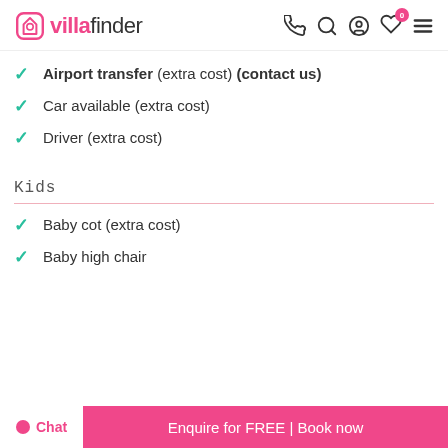villafinder
Airport transfer (extra cost) (contact us)
Car available (extra cost)
Driver (extra cost)
Kids
Baby cot (extra cost)
Baby high chair
Chat  Enquire for FREE | Book now